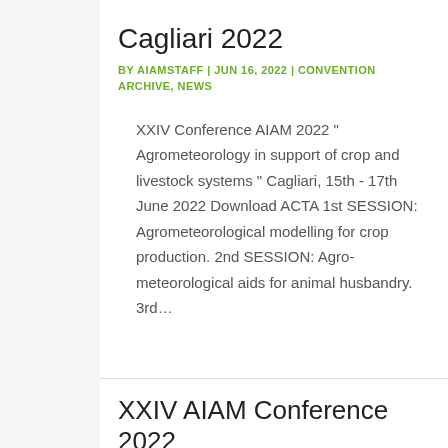Cagliari 2022
BY AIAMSTAFF | JUN 16, 2022 | CONVENTION ARCHIVE, NEWS
XXIV Conference AIAM 2022 " Agrometeorology in support of crop and livestock systems " Cagliari, 15th - 17th June 2022 Download ACTA 1st SESSION: Agrometeorological modelling for crop production. 2nd SESSION: Agro-meteorological aids for animal husbandry. 3rd…
XXIV AIAM Conference 2022